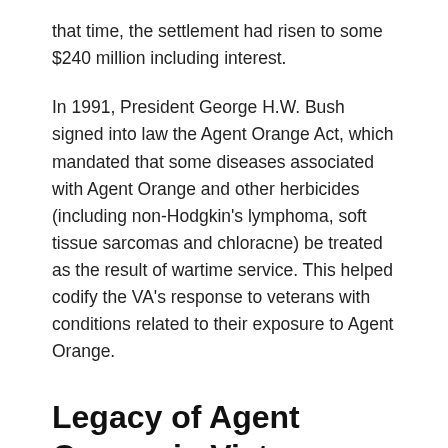that time, the settlement had risen to some $240 million including interest.
In 1991, President George H.W. Bush signed into law the Agent Orange Act, which mandated that some diseases associated with Agent Orange and other herbicides (including non-Hodgkin's lymphoma, soft tissue sarcomas and chloracne) be treated as the result of wartime service. This helped codify the VA's response to veterans with conditions related to their exposure to Agent Orange.
Legacy of Agent Orange in Vietnam